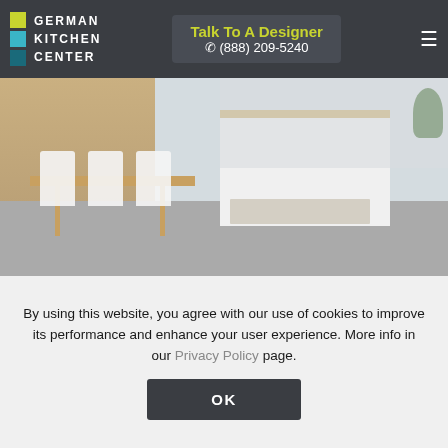GERMAN KITCHEN CENTER | Talk To A Designer | (888) 209-5240
[Figure (photo): Modern German kitchen with open-plan dining area featuring white chairs, wooden table, white cabinetry, kitchen island, and grey concrete floor]
[Figure (photo): Close-up of German kitchen shelving with wooden panel wall, decorative items on open shelves, pendant lamps, and tall white cabinet]
By using this website, you agree with our use of cookies to improve its performance and enhance your user experience. More info in our Privacy Policy page.
OK